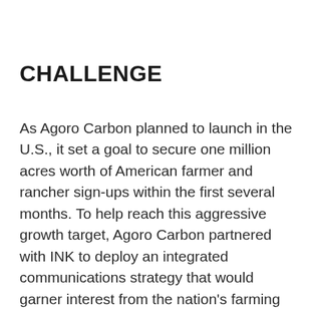CHALLENGE
As Agoro Carbon planned to launch in the U.S., it set a goal to secure one million acres worth of American farmer and rancher sign-ups within the first several months. To help reach this aggressive growth target, Agoro Carbon partnered with INK to deploy an integrated communications strategy that would garner interest from the nation's farming and ranching community.